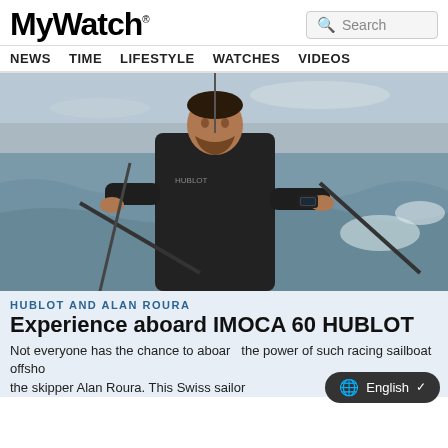MyWatch® NEWS TIME LIFESTYLE WATCHES VIDEOS
[Figure (photo): A man in a black wetsuit and sailing gear sits on the deck of a racing sailboat on choppy ocean water under a grey sky. He wears a Hublot watch on his left wrist. Sailboat rigging is visible.]
HUBLOT AND ALAN ROURA
Experience aboard IMOCA 60 HUBLOT
Not everyone has the chance to aboard the power of such racing sailboat offshore with the skipper Alan Roura. This Swiss sailor...